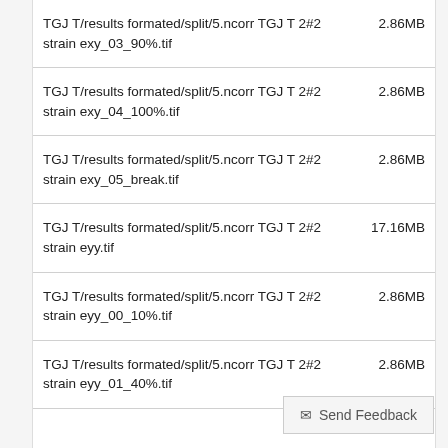| File | Size |
| --- | --- |
| TGJ T/results formated/split/5.ncorr TGJ T 2#2 strain exy_03_90%.tif | 2.86MB |
| TGJ T/results formated/split/5.ncorr TGJ T 2#2 strain exy_04_100%.tif | 2.86MB |
| TGJ T/results formated/split/5.ncorr TGJ T 2#2 strain exy_05_break.tif | 2.86MB |
| TGJ T/results formated/split/5.ncorr TGJ T 2#2 strain eyy.tif | 17.16MB |
| TGJ T/results formated/split/5.ncorr TGJ T 2#2 strain eyy_00_10%.tif | 2.86MB |
| TGJ T/results formated/split/5.ncorr TGJ T 2#2 strain eyy_01_40%.tif | 2.86MB |